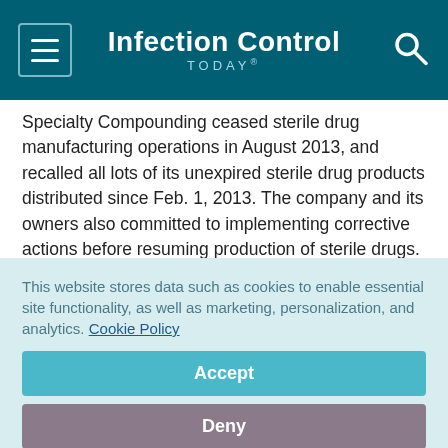Infection Control TODAY®
Specialty Compounding ceased sterile drug manufacturing operations in August 2013, and recalled all lots of its unexpired sterile drug products distributed since Feb. 1, 2013. The company and its owners also committed to implementing corrective actions before resuming production of sterile drugs.
The FDA inspected Specialty Compounding's Cedar Park facility in August and September 2013 and found insanitary
This website stores data such as cookies to enable essential site functionality, as well as marketing, personalization, and analytics. Cookie Policy
Accept
Deny